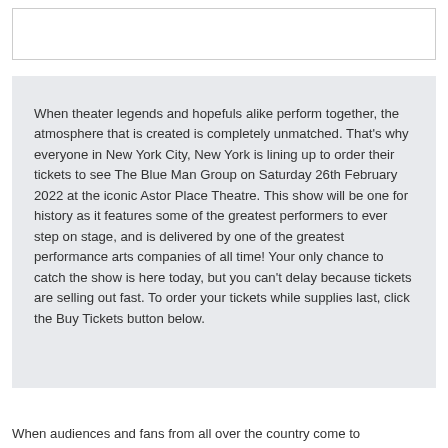When theater legends and hopefuls alike perform together, the atmosphere that is created is completely unmatched. That's why everyone in New York City, New York is lining up to order their tickets to see The Blue Man Group on Saturday 26th February 2022 at the iconic Astor Place Theatre. This show will be one for history as it features some of the greatest performers to ever step on stage, and is delivered by one of the greatest performance arts companies of all time! Your only chance to catch the show is here today, but you can't delay because tickets are selling out fast. To order your tickets while supplies last, click the Buy Tickets button below.
When audiences and fans from all over the country come to